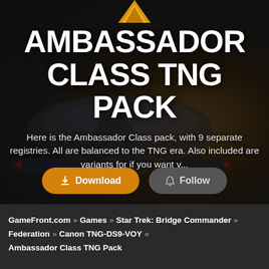[Figure (screenshot): Dark background with a Federation starship (Ambassador class) silhouette and a gold icon at the top center]
AMBASSADOR CLASS TNG PACK
Here is the Ambassador Class pack, with 9 separate registries. All are balanced to the TNG era. Also included are variants for if you want v...
Download  Follow
GameFront.com » Games » Star Trek: Bridge Commander » Federation » Canon TNG-DS9-VOY » Ambassador Class TNG Pack